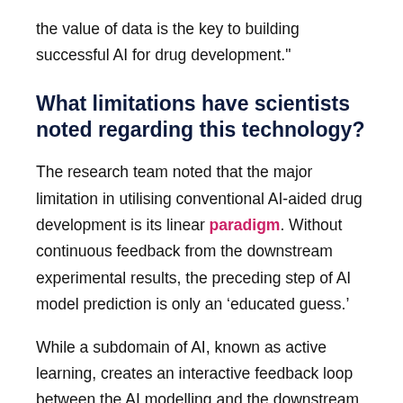the value of data is the key to building successful AI for drug development."
What limitations have scientists noted regarding this technology?
The research team noted that the major limitation in utilising conventional AI-aided drug development is its linear paradigm. Without continuous feedback from the downstream experimental results, the preceding step of AI model prediction is only an ‘educated guess.’
While a subdomain of AI, known as active learning, creates an interactive feedback loop between the AI modelling and the downstream experimental evaluation,